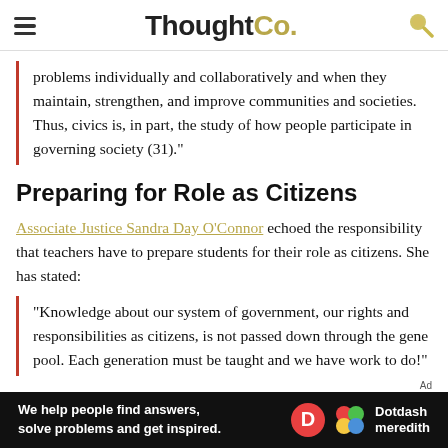ThoughtCo.
problems individually and collaboratively and when they maintain, strengthen, and improve communities and societies. Thus, civics is, in part, the study of how people participate in governing society (31)."
Preparing for Role as Citizens
Associate Justice Sandra Day O'Connor echoed the responsibility that teachers have to prepare students for their role as citizens. She has stated:
“Knowledge about our system of government, our rights and responsibilities as citizens, is not passed down through the gene pool. Each generation must be taught and we have work to do!”